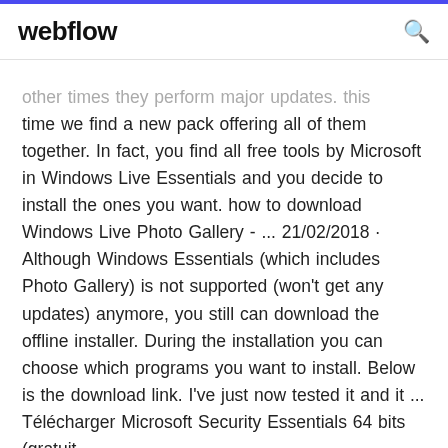webflow
other times they perform major updates. this time we find a new pack offering all of them together. In fact, you find all free tools by Microsoft in Windows Live Essentials and you decide to install the ones you want. how to download Windows Live Photo Gallery - ... 21/02/2018 · Although Windows Essentials (which includes Photo Gallery) is not supported (won't get any updates) anymore, you still can download the offline installer. During the installation you can choose which programs you want to install. Below is the download link. I've just now tested it and it ... Télécharger Microsoft Security Essentials 64 bits (gratuit ...